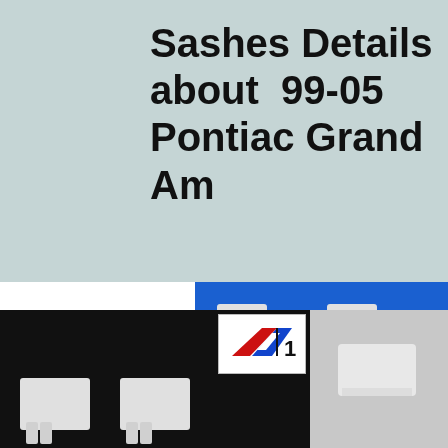Sashes Details about 99-05 Pontiac Grand Am
[Figure (photo): Four white plastic window sash clips/brackets for 99-05 Pontiac Grand Am shown on a blue background. Top row shows two smaller clip components with comb-like teeth; bottom row shows two larger block-style clips with metal screw inserts.]
[Figure (photo): Bottom portion showing partial view of white plastic sash clips on black background, with a red and blue brand logo in upper right corner of the image section.]